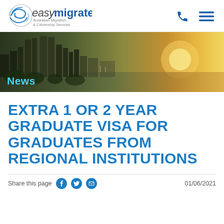[Figure (logo): EasyMigrate logo with swirl graphic, text 'easy migrate Australian Migration & Citizenship Services']
[Figure (photo): Panoramic cityscape/skyline photo of Perth, Australia at sunset with river in background. 'News' label overlaid in cyan text.]
EXTRA 1 OR 2 YEAR GRADUATE VISA FOR GRADUATES FROM REGIONAL INSTITUTIONS
Share this page   01/06/2021